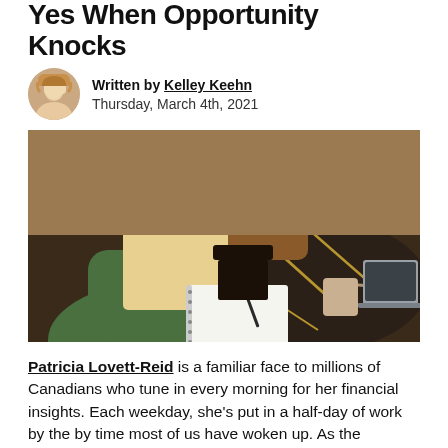Yes When Opportunity Knocks
Written by Kelley Keehn
Thursday, March 4th, 2021
[Figure (photo): Woman with blonde hair in green sweater writing in a notebook at a dark table with a coffee mug and laptop, another person visible in background]
Patricia Lovett-Reid is a familiar face to millions of Canadians who tune in every morning for her financial insights. Each weekday, she's put in a half-day of work by the by time most of us have woken up. As the financial commentator for CTV